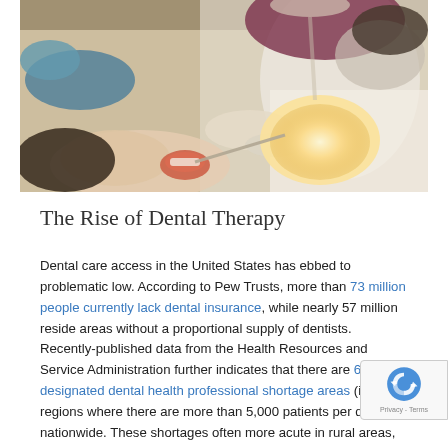[Figure (photo): A dentist in white coat and gloves performing a dental procedure on a patient. Bright light visible in patient's mouth. Clinical setting.]
The Rise of Dental Therapy
Dental care access in the United States has ebbed to problematic low. According to Pew Trusts, more than 73 million people currently lack dental insurance, while nearly 57 million reside areas without a proportional supply of dentists. Recently-published data from the Health Resources and Service Administration further indicates that there are 6,772 designated dental health professional shortage areas (i.e., regions where there are more than 5,000 patients per dentist) nationwide. These shortages are often more acute in rural areas, given that an estimated two-thirds of dentists practice in population-dense urban or metropolitan areas, among other contributing